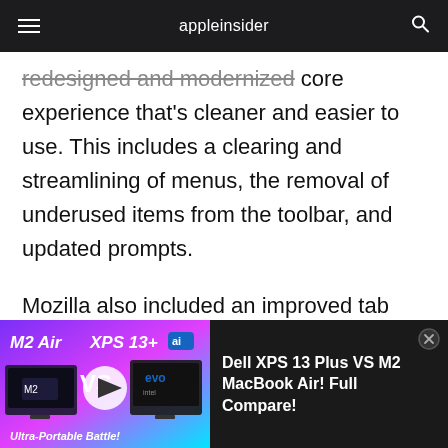appleinsider
redesigned and modernized core experience that's cleaner and easier to use. This includes a clearing and streamlining of menus, the removal of underused items from the toolbar, and updated prompts.
Mozilla also included an improved tab design with context-sensitive surface cues, such as audio control indicators. The number of alerts and messages will also be reduced to cut down
[Figure (screenshot): Advertisement banner: M2 Air vs XPS 13+ comparison video thumbnail with text 'Dell XPS 13 Plus VS M2 MacBook Air! Full Compare!' and subtitle 'Ultra-Portable Battle!']